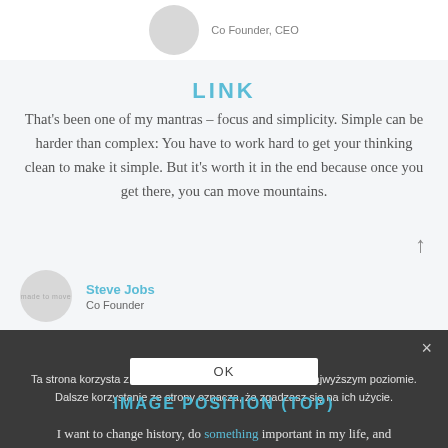Co Founder, CEO
LINK
That's been one of my mantras – focus and simplicity. Simple can be harder than complex: You have to work hard to get your thinking clean to make it simple. But it's worth it in the end because once you get there, you can move mountains.
Steve Jobs
Co Founder
Ta strona korzysta z ciasteczek aby świadczyć usługi na najwyższym poziomie. Dalsze korzystanie ze strony oznacza, że zgadzasz się na ich użycie.
OK
IMAGE POSITION (TOP)
I want to change history, do something important in my life, and